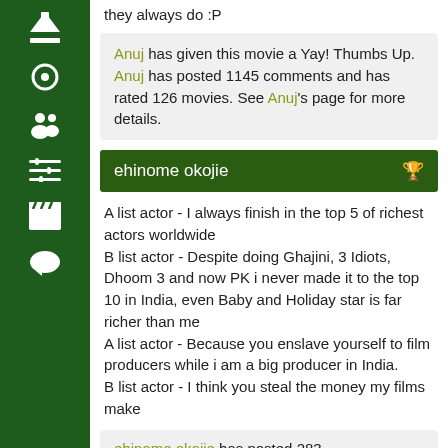they always do :P
Anuj has given this movie a Yay! Thumbs Up. Anuj has posted 1145 comments and has rated 126 movies. See Anuj's page for more details.
ehinome okojie
A list actor - I always finish in the top 5 of richest actors worldwide
B list actor - Despite doing Ghajini, 3 Idiots, Dhoom 3 and now PK i never made it to the top 10 in India, even Baby and Holiday star is far richer than me
A list actor - Because you enslave yourself to film producers while i am a big producer in India.
B list actor - I think you steal the money my films make
ehinome okojie has posted 283